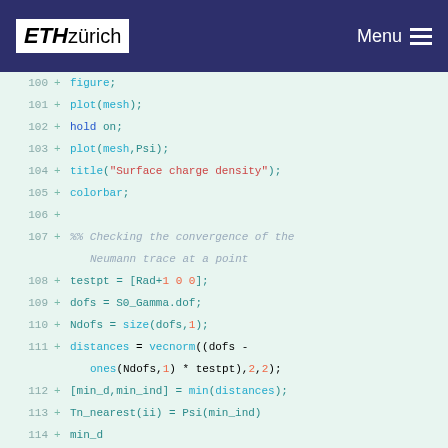ETH zürich Menu
[Figure (screenshot): Code editor diff view showing MATLAB code lines 100-118 with line numbers and + diff markers on a light green background. Code includes plot, hold, title, colorbar, testpt, dofs, Ndofs, distances, min calculations, and section comments.]